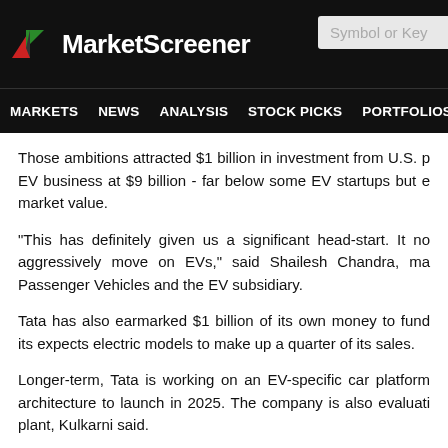[Figure (logo): MarketScreener logo with red and green arrow icon on black header background, with 'Symbol or Key' search box on right]
MARKETS NEWS ANALYSIS STOCK PICKS PORTFOLIOS WATCHLI...
Those ambitions attracted $1 billion in investment from U.S. p... EV business at $9 billion - far below some EV startups but e... market value.
"This has definitely given us a significant head-start. It no... aggressively move on EVs," said Shailesh Chandra, ma... Passenger Vehicles and the EV subsidiary.
Tata has also earmarked $1 billion of its own money to fund its... expects electric models to make up a quarter of its sales.
Longer-term, Tata is working on an EV-specific car platform ... architecture to launch in 2025. The company is also evaluati... plant, Kulkarni said.